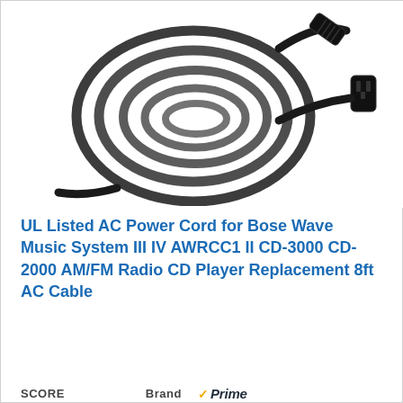[Figure (photo): A coiled black AC power cord with a figure-8 IEC C7 connector on one end and a standard US two-prong plug on the other end, displayed on a white background.]
UL Listed AC Power Cord for Bose Wave Music System III IV AWRCC1 II CD-3000 CD-2000 AM/FM Radio CD Player Replacement 8ft AC Cable
View on Amazon
SCORE   Brand   ✓Prime